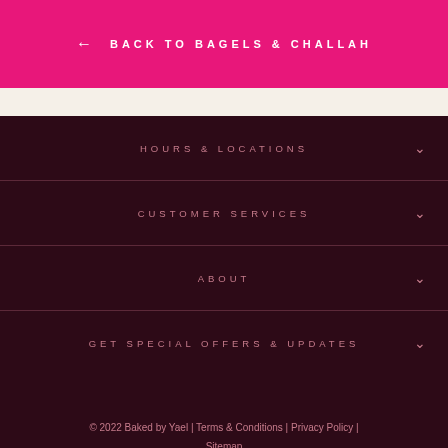← BACK TO BAGELS & CHALLAH
HOURS & LOCATIONS
CUSTOMER SERVICES
ABOUT
GET SPECIAL OFFERS & UPDATES
© 2022 Baked by Yael | Terms & Conditions | Privacy Policy | Sitemap